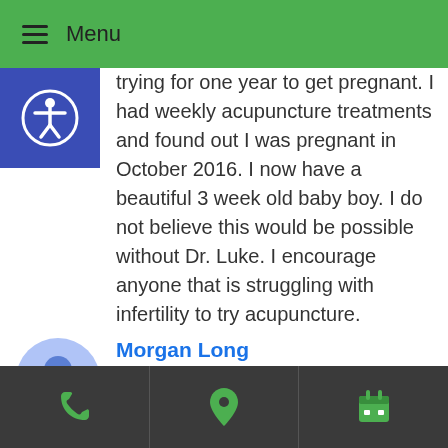≡ Menu
trying for one year to get pregnant. I had weekly acupuncture treatments and found out I was pregnant in October 2016. I now have a beautiful 3 week old baby boy. I do not believe this would be possible without Dr. Luke. I encourage anyone that is struggling with infertility to try acupuncture.
Morgan Long
6 years ago
★★★★★ Dr Luke has been amazing! After going through countless stressful infertility procedures, i finally found Dr Luke right before our first round of IVF. The sessions are alway SO relaxing and just what I need. 3 years later with a toddler in tow, we are doing
📞 📍 📅